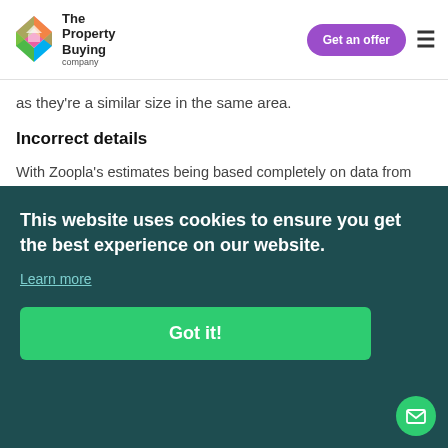The Property Buying Company | Get an offer
as they're a similar size in the same area.
Incorrect details
With Zoopla's estimates being based completely on data from when your property was last sold, there's a high chance the details are now inaccurate. For example, you may have bought your property when it was advertised as a 3-bed property, but you have since converted the house office into another bedroom, making your house now 4-bed, but Zoopla [se is] [take] [e]
This website uses cookies to ensure you get the best experience on our website.
Learn more
Got it!